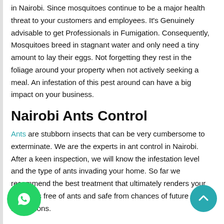in Nairobi. Since mosquitoes continue to be a major health threat to your customers and employees. It's Genuinely advisable to get Professionals in Fumigation. Consequently, Mosquitoes breed in stagnant water and only need a tiny amount to lay their eggs. Not forgetting they rest in the foliage around your property when not actively seeking a meal. An infestation of this pest around can have a big impact on your business.
Nairobi Ants Control
Ants are stubborn insects that can be very cumbersome to exterminate. We are the experts in ant control in Nairobi. After a keen inspection, we will know the infestation level and the type of ants invading your home. So far we recommend the best treatment that ultimately renders your premises free of ants and safe from chances of future ant infestations.
Nairobi Rodents / Rats Extermination
Rodents/ Rats are very destructive, and they can expose your